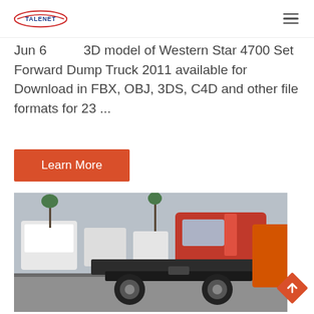TALENET
Jun 6 ... 3D model of Western Star 4700 Set Forward Dump Truck 2011 available for Download in FBX, OBJ, 3DS, C4D and other file formats for 23 ...
Learn More
[Figure (photo): Red heavy-duty truck tractor (semi truck) photographed from behind at a truck lot, showing rear axles and cab, with other white trucks visible in the background.]